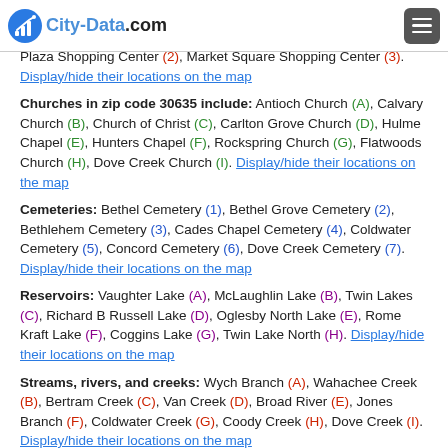City-Data.com
Courthouse (P). Display/hide their locations on the map
Shopping Centers: Elberton Plaza Shopping Center (1), East Plaza Shopping Center (2), Market Square Shopping Center (3). Display/hide their locations on the map
Churches in zip code 30635 include: Antioch Church (A), Calvary Church (B), Church of Christ (C), Carlton Grove Church (D), Hulme Chapel (E), Hunters Chapel (F), Rockspring Church (G), Flatwoods Church (H), Dove Creek Church (I). Display/hide their locations on the map
Cemeteries: Bethel Cemetery (1), Bethel Grove Cemetery (2), Bethlehem Cemetery (3), Cades Chapel Cemetery (4), Coldwater Cemetery (5), Concord Cemetery (6), Dove Creek Cemetery (7). Display/hide their locations on the map
Reservoirs: Vaughter Lake (A), McLaughlin Lake (B), Twin Lakes (C), Richard B Russell Lake (D), Oglesby North Lake (E), Rome Kraft Lake (F), Coggins Lake (G), Twin Lake North (H). Display/hide their locations on the map
Streams, rivers, and creeks: Wych Branch (A), Wahachee Creek (B), Bertram Creek (C), Van Creek (D), Broad River (E), Jones Branch (F), Coldwater Creek (G), Coody Creek (H), Dove Creek (I). Display/hide their locations on the map